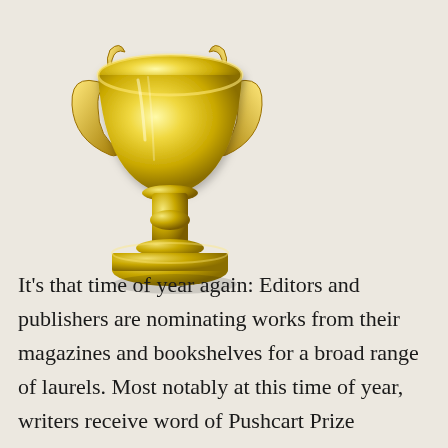[Figure (illustration): A gold trophy cup with ornate handles and a wide bowl, displayed on a light beige background.]
It's that time of year again: Editors and publishers are nominating works from their magazines and bookshelves for a broad range of laurels. Most notably at this time of year, writers receive word of Pushcart Prize nominations. As a younger writer, I used